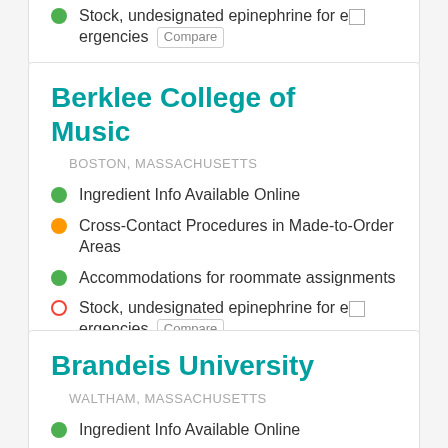Stock, undesignated epinephrine for emergencies
Berklee College of Music
BOSTON, MASSACHUSETTS
Ingredient Info Available Online
Cross-Contact Procedures in Made-to-Order Areas
Accommodations for roommate assignments
Stock, undesignated epinephrine for emergencies
Brandeis University
WALTHAM, MASSACHUSETTS
Ingredient Info Available Online